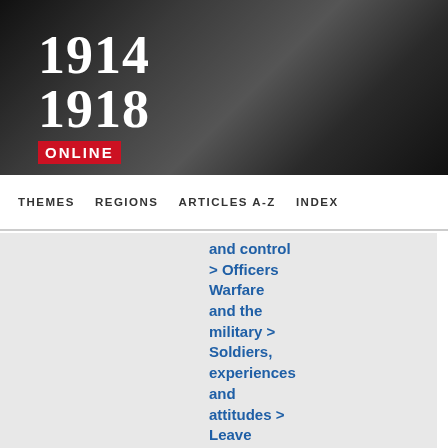1914-1918 ONLINE
THEMES   REGIONS   ARTICLES A-Z   INDEX
and control > Officers Warfare and the military > Soldiers, experiences and attitudes > Leave Warfare and the military > Military infrastructure > Transport,